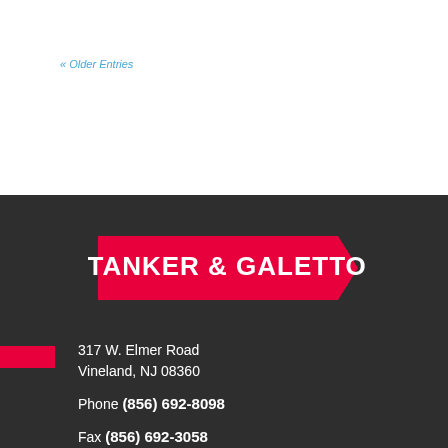« Older Entries
[Figure (logo): Stanker & Galetto logo — red pennant/banner shape with white bold text reading STANKER & GALETTO]
317 W. Elmer Road
Vineland, NJ 08360
Phone (856) 692-8098
Fax (856) 692-3058